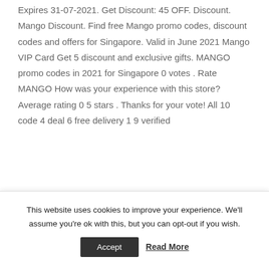Expires 31-07-2021. Get Discount: 45 OFF. Discount. Mango Discount. Find free Mango promo codes, discount codes and offers for Singapore. Valid in June 2021 Mango VIP Card Get 5 discount and exclusive gifts. MANGO promo codes in 2021 for Singapore 0 votes . Rate MANGO How was your experience with this store? Average rating 0 5 stars . Thanks for your vote! All 10 code 4 deal 6 free delivery 1 9 verified
This website uses cookies to improve your experience. We'll assume you're ok with this, but you can opt-out if you wish.
Accept  Read More